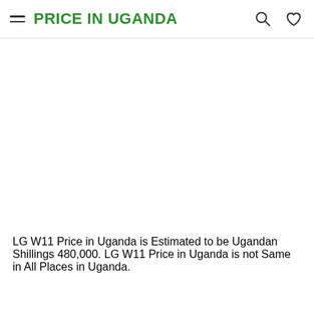PRICE IN UGANDA
[Figure (photo): Large white/blank image area representing a product image placeholder for LG W11]
LG W11 Price in Uganda is Estimated to be Ugandan Shillings 480,000. LG W11 Price in Uganda is not Same in All Places in Uganda.